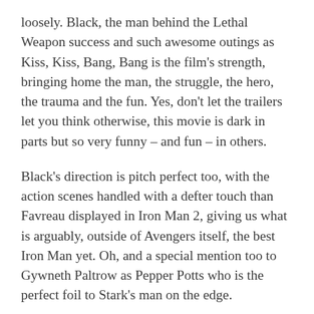loosely. Black, the man behind the Lethal Weapon success and such awesome outings as Kiss, Kiss, Bang, Bang is the film's strength, bringing home the man, the struggle, the hero, the trauma and the fun. Yes, don't let the trailers let you think otherwise, this movie is dark in parts but so very funny – and fun – in others.
Black's direction is pitch perfect too, with the action scenes handled with a defter touch than Favreau displayed in Iron Man 2, giving us what is arguably, outside of Avengers itself, the best Iron Man yet. Oh, and a special mention too to Gywneth Paltrow as Pepper Potts who is the perfect foil to Stark's man on the edge.
I want to really get into the plot, but will leave it for you to enjoy but let me sum it up like this: top notch performances, a story that hits hard but is laced with fun, solid performances and a subtle use of 3D – If you see it in this format – all come together to what is an impressive